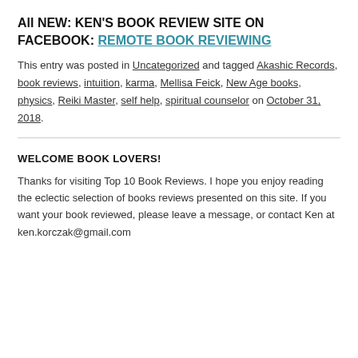All NEW: KEN'S BOOK REVIEW SITE ON FACEBOOK: REMOTE BOOK REVIEWING
This entry was posted in Uncategorized and tagged Akashic Records, book reviews, intuition, karma, Mellisa Feick, New Age books, physics, Reiki Master, self help, spiritual counselor on October 31, 2018.
WELCOME BOOK LOVERS!
Thanks for visiting Top 10 Book Reviews. I hope you enjoy reading the eclectic selection of books reviews presented on this site. If you want your book reviewed, please leave a message, or contact Ken at ken.korczak@gmail.com